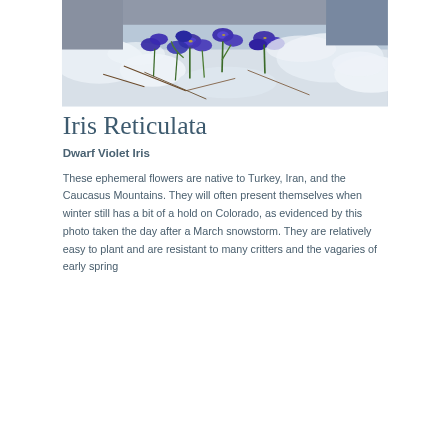[Figure (photo): Close-up photograph of Iris Reticulata (Dwarf Violet Iris) blue-purple flowers blooming among snow and brown winter debris]
Iris Reticulata
Dwarf Violet Iris
These ephemeral flowers are native to Turkey, Iran, and the Caucasus Mountains. They will often present themselves when winter still has a bit of a hold on Colorado, as evidenced by this photo taken the day after a March snowstorm. They are relatively easy to plant and are resistant to many critters and the vagaries of early spring...